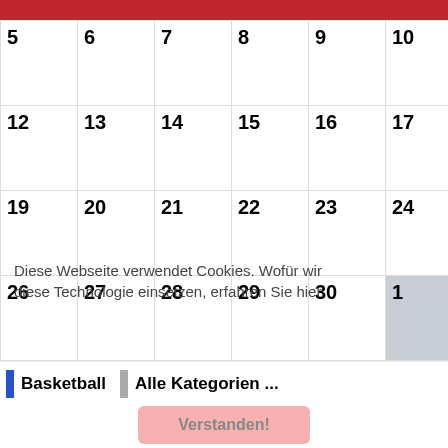| 5 | 6 | 7 | 8 | 9 | 10 | 11 |
| --- | --- | --- | --- | --- | --- | --- |
| 12 | 13 | 14 | 15 | 16 | 17 | 18 |
| 19 | 20 | 21 | 22 | 23 | 24 | 25 |
| 26 | 27 | 28 | 29 | 30 | 1 | 2 |
Diese Webseite verwendet Cookies. Wofür wir diese Technologie einsetzen, erfahren Sie hier.
Basketball   Alle Kategorien ...
Verstanden!